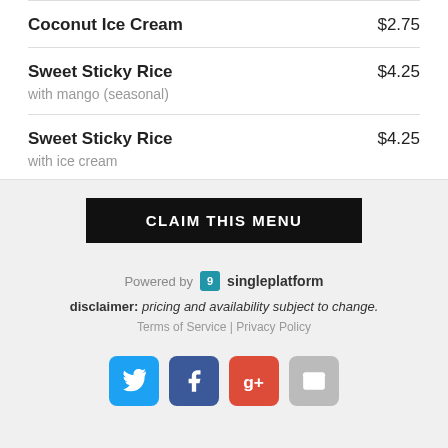Coconut Ice Cream $2.75
Sweet Sticky Rice $4.25
with mango (seasonal)
Sweet Sticky Rice $4.25
with ice cream
CLAIM THIS MENU
Powered by singleplatform
disclaimer: pricing and availability subject to change.
Terms of Service | Privacy Policy